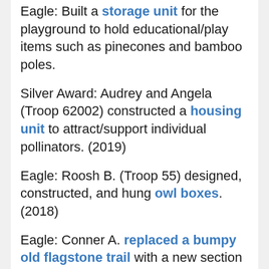Eagle: Built a storage unit for the playground to hold educational/play items such as pinecones and bamboo poles.
Silver Award: Audrey and Angela (Troop 62002) constructed a housing unit to attract/support individual pollinators. (2019)
Eagle: Roosh B. (Troop 55) designed, constructed, and hung owl boxes. (2018)
Eagle: Conner A. replaced a bumpy old flagstone trail with a new section of decomposed granite. (2017)
Eagle: Charles D. (Troop 730) and his team built and connected two ADA-accessible trails. (2016)